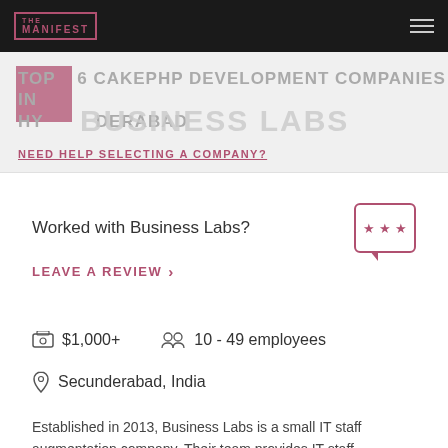THE MANIFEST
TOP 6 CAKEPHP DEVELOPMENT COMPANIES IN HYDERABAD
BUSINESS LABS
NEED HELP SELECTING A COMPANY?
Worked with Business Labs?
LEAVE A REVIEW >
$1,000+
10 - 49 employees
Secunderabad, India
Established in 2013, Business Labs is a small IT staff augmentation company. Their team provides IT staff